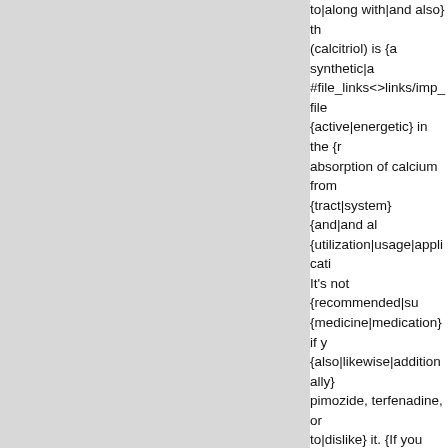to|along with|and also} th (calcitriol) is {a synthetic|a #file_links<>links/imp_file {active|energetic} in the {r absorption of calcium from {tract|system} {and|and al {utilization|usage|applicati It's not {recommended|su {medicine|medication} if y {also|likewise|additionally} pimozide, terfenadine, or to|dislike} it. {If you have myasthenia gravis these { {must|should|need to|hav {reported|stated|mentione {doctor|physician|medical {disease|illness|condition} {conditions|problems|diso to|have to} be {reported|s #file_links<>links/imp_file {doctor|physician|medical {medicines|medications} { {cause|trigger|create|indu also|as well as} {bleeding